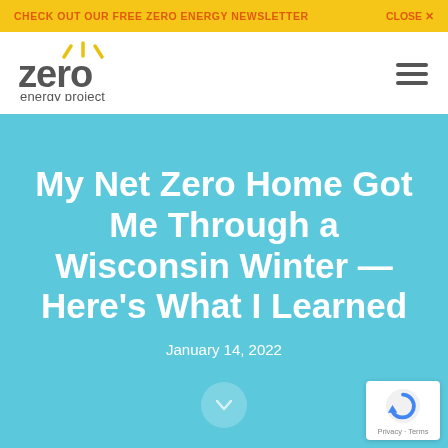CHECK OUT OUR FREE ZERO ENERGY NEWSLETTER   CLOSE ✕
[Figure (logo): Zero Energy Project logo with stylized sun rays above the word 'zero' in dark gray, and 'energy project' below in smaller text]
My Net Zero Home Got Me Through a Wisconsin Winter — Here's What I Learned
January 14, 2022